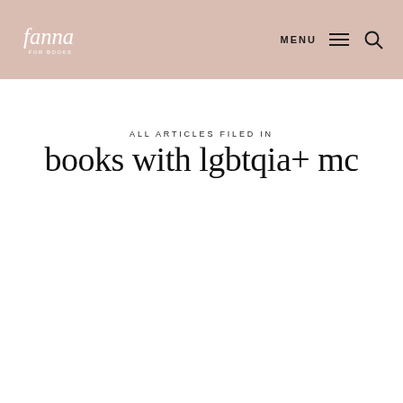fanna for books — MENU
ALL ARTICLES FILED IN
books with lgbtqia+ mc